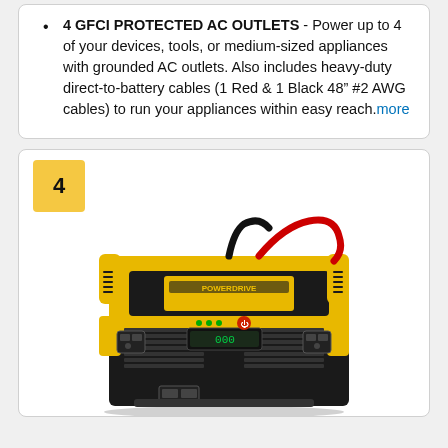4 GFCI PROTECTED AC OUTLETS - Power up to 4 of your devices, tools, or medium-sized appliances with grounded AC outlets. Also includes heavy-duty direct-to-battery cables (1 Red & 1 Black 48" #2 AWG cables) to run your appliances within easy reach.more
[Figure (photo): A yellow and black PowerDrive power inverter product photo. The device has yellow corners/housing with black vented sides, AC outlets, a digital display, USB ports, and red/black battery cables attached.]